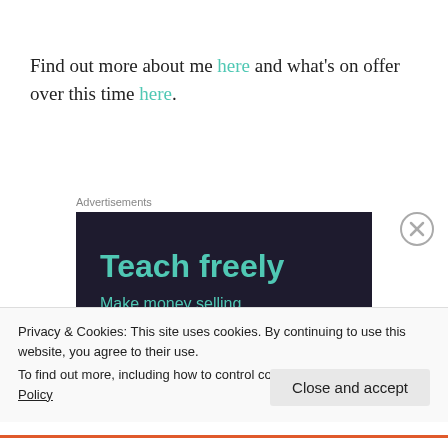Find out more about me here and what's on offer over this time here.
Advertisements
[Figure (screenshot): Dark-themed advertisement banner with teal text reading 'Teach freely' and 'Make money selling online courses']
Privacy & Cookies: This site uses cookies. By continuing to use this website, you agree to their use.
To find out more, including how to control cookies, see here: Cookie Policy
Close and accept